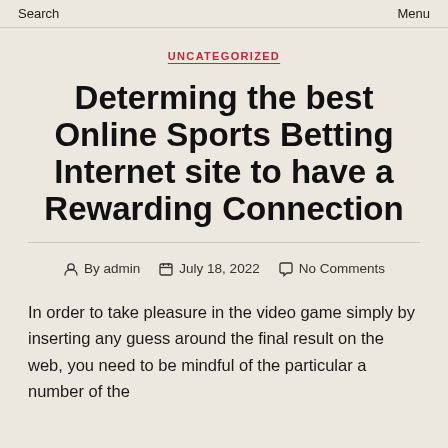Search   Menu
UNCATEGORIZED
Determing the best Online Sports Betting Internet site to have a Rewarding Connection
By admin   July 18, 2022   No Comments
In order to take pleasure in the video game simply by inserting any guess around the final result on the web, you need to be mindful of the particular a number of the